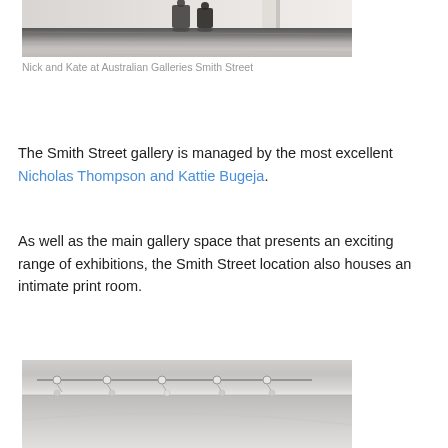[Figure (photo): Black and white photo of two people (Nick and Kate) in a gallery space with wooden floors, partially cropped at top]
Nick and Kate at Australian Galleries Smith Street
The Smith Street gallery is managed by the most excellent Nicholas Thompson and Kattie Bugeja.
As well as the main gallery space that presents an exciting range of exhibitions, the Smith Street location also houses an intimate print room.
[Figure (photo): Black and white photo of a gallery ceiling with track lighting, partially cropped at bottom]